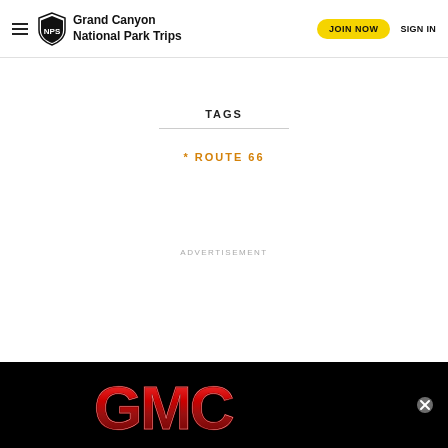Grand Canyon National Park Trips | JOIN NOW | SIGN IN
TAGS
* ROUTE 66
ADVERTISEMENT
[Figure (logo): GMC logo on black background with a close button]